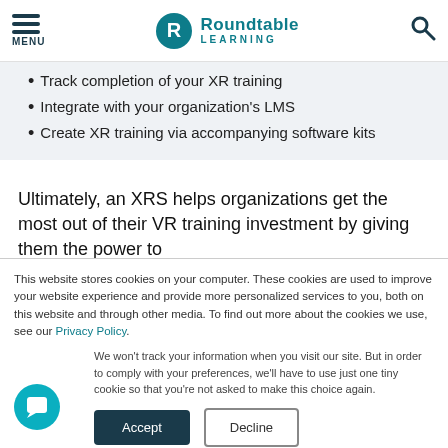MENU | Roundtable Learning
Track completion of your XR training
Integrate with your organization's LMS
Create XR training via accompanying software kits
Ultimately, an XRS helps organizations get the most out of their VR training investment by giving them the power to
This website stores cookies on your computer. These cookies are used to improve your website experience and provide more personalized services to you, both on this website and through other media. To find out more about the cookies we use, see our Privacy Policy.
We won't track your information when you visit our site. But in order to comply with your preferences, we'll have to use just one tiny cookie so that you're not asked to make this choice again.